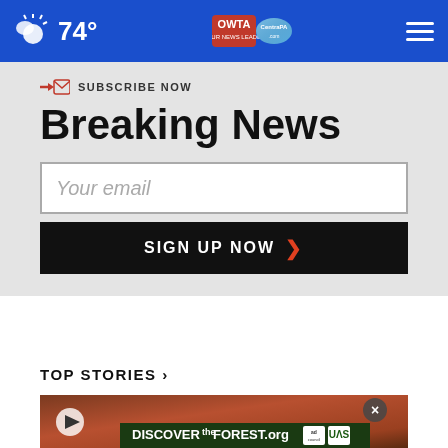74°
SUBSCRIBE NOW
Breaking News
Your email
SIGN UP NOW
TOP STORIES ›
[Figure (photo): Video thumbnail showing packaged food items with play button overlay and ad banner for DiscovertheForest.org]